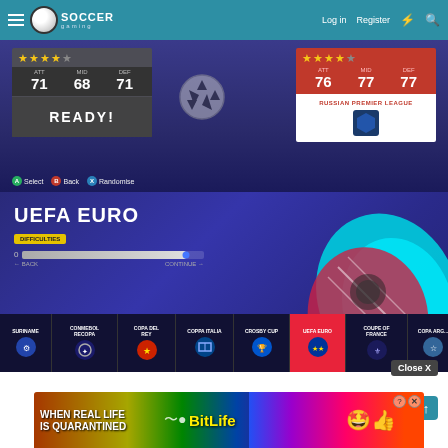Soccer Gaming — Log in | Register
[Figure (screenshot): FIFA-style game screenshot showing two team selection cards. Left card (gray): 3.5 stars, ATT 71, MID 68, DEF 71, READY! Right card (red): 4 stars, ATT 76, MID 77, DEF 77, RUSSIAN PREMIER LEAGUE badge. Controller hints: Select, Back, Randomise.]
[Figure (screenshot): FIFA-style tournament screen for UEFA EURO. Shows difficulty badge in yellow, progress bar nearly full with blue dot, directional labels. Decorative colorful FIFA ball/boot graphic on right. Category carousel at bottom showing: SURINAME, CONMEBOL RECOPA, COPA DEL REY, COPPA ITALIA, CROSBY CUP, UEFA EURO (active/red), COUPE DE FRANCE, COPA ARGENTINA. Controller hints: Select, Back.]
Close X
[Figure (screenshot): Ad banner: rainbow gradient background with text 'WHEN REAL LIFE IS QUARANTINED' and BitLife logo with star emoji and thumbs up emoji. Close/question buttons top right.]